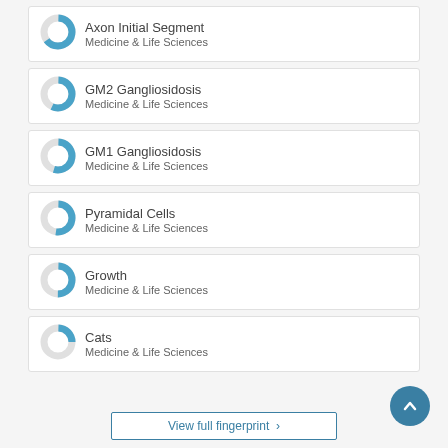Axon Initial Segment — Medicine & Life Sciences
GM2 Gangliosidosis — Medicine & Life Sciences
GM1 Gangliosidosis — Medicine & Life Sciences
Pyramidal Cells — Medicine & Life Sciences
Growth — Medicine & Life Sciences
Cats — Medicine & Life Sciences
View full fingerprint >